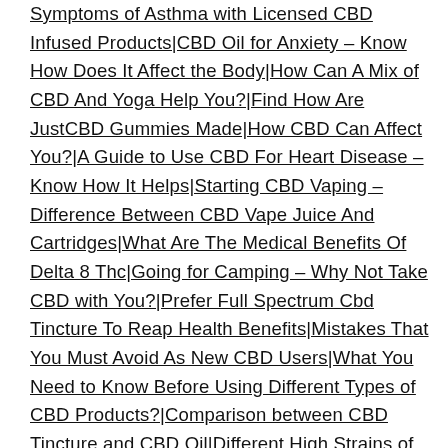Symptoms of Asthma with Licensed CBD Infused Products|CBD Oil for Anxiety – Know How Does It Affect the Body|How Can A Mix of CBD And Yoga Help You?|Find How Are JustCBD Gummies Made|How CBD Can Affect You?|A Guide to Use CBD For Heart Disease – Know How It Helps|Starting CBD Vaping – Difference Between CBD Vape Juice And Cartridges|What Are The Medical Benefits Of Delta 8 Thc|Going for Camping – Why Not Take CBD with You?|Prefer Full Spectrum Cbd Tincture To Reap Health Benefits|Mistakes That You Must Avoid As New CBD Users|What You Need to Know Before Using Different Types of CBD Products?|Comparison between CBD Tincture and CBD Oil|Different High Strains of CBD That have Various Therapeutic Benefits|Marijuana CBD Oil or Hemp CBD Oil – Which Is the Right Choice for You – Know Here|Discover The Great Benefits Of CBD